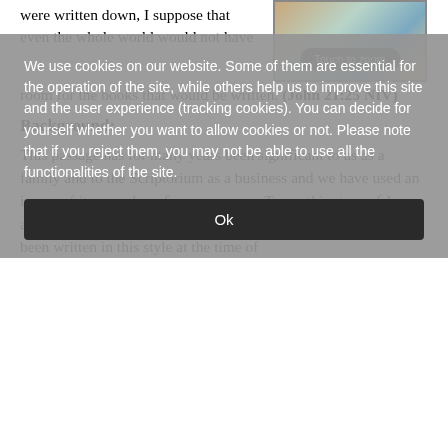were written down, I suppose that even the whole world would not have room for the books that would be written. (John 21:25 NIV)
[Figure (illustration): Decorative illustration with a 'Touch to zoom' overlay button]
Background:
This passage has for many years been significant to us as a family and to the Scriptorium as a business and we have used an image of it as our logo for many years. To me this story of Jesus after the resurrection speaks of trust and faith. The passage has been written in this style at the time of
We use cookies on our website. Some of them are essential for the operation of the site, while others help us to improve this site and the user experience (tracking cookies). You can decide for yourself whether you want to allow cookies or not. Please note that if you reject them, you may not be able to use all the functionalities of the site.
Ok